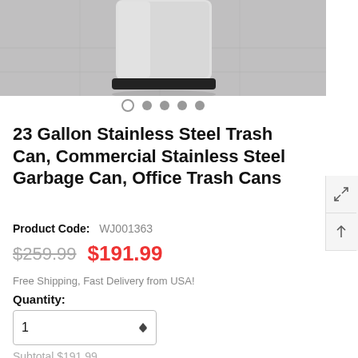[Figure (photo): Photo of a stainless steel trash can (cylindrical, silver with black base) on a gray floor]
○ ● ● ● ●
23 Gallon Stainless Steel Trash Can, Commercial Stainless Steel Garbage Can, Office Trash Cans
Product Code: WJ001363
$259.99 $191.99
Free Shipping, Fast Delivery from USA!
Quantity:
1
Subtotal $191.99